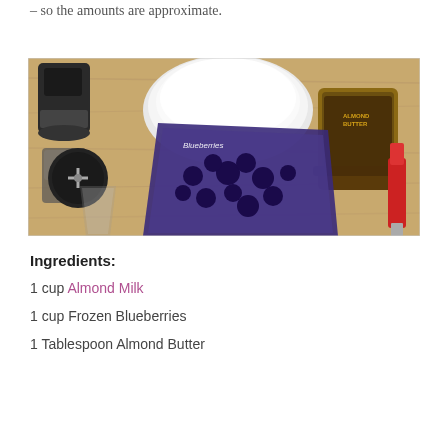– so the amounts are approximate.
[Figure (photo): Overhead view of smoothie ingredients on a wooden cutting board: a blender/grinder, a white bowl, a bag of frozen blueberries, a jar of almond butter, a clear cup, and a red spatula.]
Ingredients:
1 cup Almond Milk
1 cup Frozen Blueberries
1 Tablespoon Almond Butter